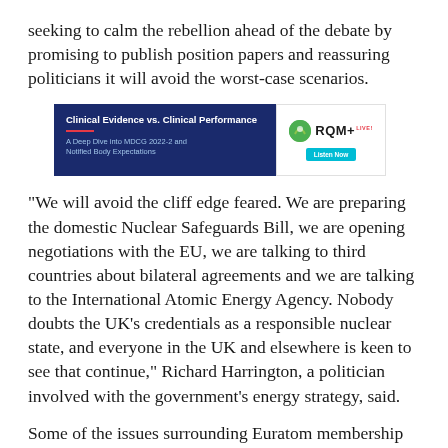seeking to calm the rebellion ahead of the debate by promising to publish position papers and reassuring politicians it will avoid the worst-case scenarios.
[Figure (other): Advertisement banner for 'Clinical Evidence vs. Clinical Performance: A Deep Dive into MDCG 2022-2 and Notified Body Expectations' with RQM+ Live logo and Listen Now button]
“We will avoid the cliff edge feared. We are preparing the domestic Nuclear Safeguards Bill, we are opening negotiations with the EU, we are talking to third countries about bilateral agreements and we are talking to the International Atomic Energy Agency. Nobody doubts the UK’s credentials as a responsible nuclear state, and everyone in the UK and elsewhere is keen to see that continue,” Richard Harrington, a politician involved with the government’s energy strategy, said.
Some of the issues surrounding Euratom membership overlap with those related to the European Medicines Agency (EMA). Staying part of either agency would keep the UK under the jurisdiction of the European Court of Justice, a